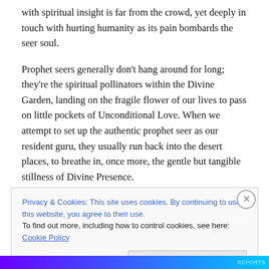with spiritual insight is far from the crowd, yet deeply in touch with hurting humanity as its pain bombards the seer soul.
Prophet seers generally don't hang around for long; they're the spiritual pollinators within the Divine Garden, landing on the fragile flower of our lives to pass on little pockets of Unconditional Love. When we attempt to set up the authentic prophet seer as our resident guru, they usually run back into the desert places, to breathe in, once more, the gentle but tangible  stillness of Divine Presence.
Privacy & Cookies: This site uses cookies. By continuing to use this website, you agree to their use.
To find out more, including how to control cookies, see here: Cookie Policy
Close and accept